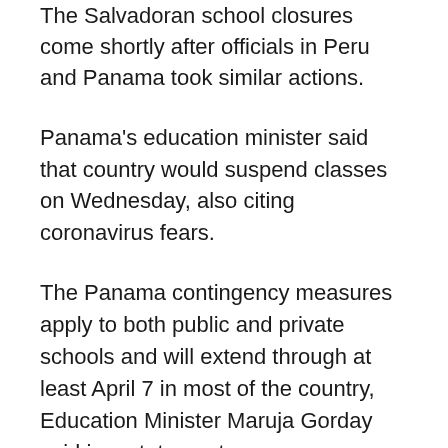The Salvadoran school closures come shortly after officials in Peru and Panama took similar actions.
Panama's education minister said that country would suspend classes on Wednesday, also citing coronavirus fears.
The Panama contingency measures apply to both public and private schools and will extend through at least April 7 in most of the country, Education Minister Maruja Gorday said in a statement.
Students will nonetheless continue their studies via prepared lessons that can be completed at home, an education ministry official said.
Earlier on Wednesday, Peruvian President Martin